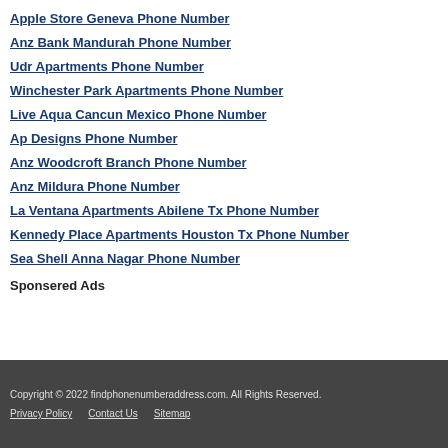Apple Store Geneva Phone Number
Anz Bank Mandurah Phone Number
Udr Apartments Phone Number
Winchester Park Apartments Phone Number
Live Aqua Cancun Mexico Phone Number
Ap Designs Phone Number
Anz Woodcroft Branch Phone Number
Anz Mildura Phone Number
La Ventana Apartments Abilene Tx Phone Number
Kennedy Place Apartments Houston Tx Phone Number
Sea Shell Anna Nagar Phone Number
Sponsered Ads
Copyright © 2022 findphonenumberaddress.com. All Rights Reserved. Privacy Policy Contact Us Sitemap